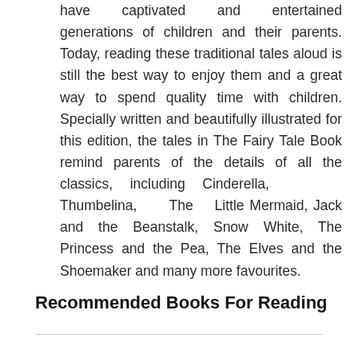have captivated and entertained generations of children and their parents. Today, reading these traditional tales aloud is still the best way to enjoy them and a great way to spend quality time with children. Specially written and beautifully illustrated for this edition, the tales in The Fairy Tale Book remind parents of the details of all the classics, including Cinderella, Thumbelina, The Little Mermaid, Jack and the Beanstalk, Snow White, The Princess and the Pea, The Elves and the Shoemaker and many more favourites.
Recommended Books For Reading